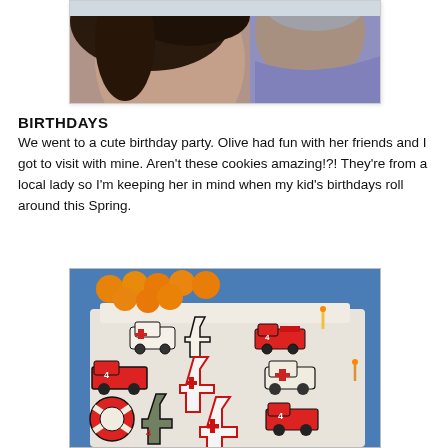[Figure (photo): Top portion of two people's faces — a woman with dark hair and a man wearing a purple/lavender zip-up jacket, outdoors.]
BIRTHDAYS
We went to a cute birthday party.  Olive had fun with her friends and I got to visit with mine.  Aren't these cookies amazing!?!  They're from a local lady so I'm keeping her in mind when my kid's birthdays roll around this Spring.
[Figure (photo): Birthday cookies on a tray with blue tablecloth and oranges in background. Cookies are shaped like the number 4, fire trucks, ambulances, and a lifesaver ring, decorated in red, white and green icing. Some number candles visible.]